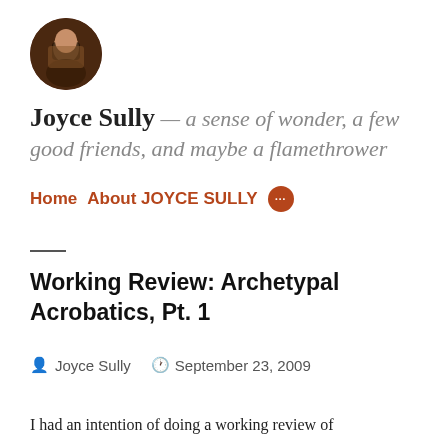[Figure (photo): Circular avatar photo of a person reading a book, dark reddish-brown tones]
Joyce Sully — a sense of wonder, a few good friends, and maybe a flamethrower
Home   About JOYCE SULLY  •••
Working Review: Archetypal Acrobatics, Pt. 1
Joyce Sully   September 23, 2009
I had an intention of doing a working review of...